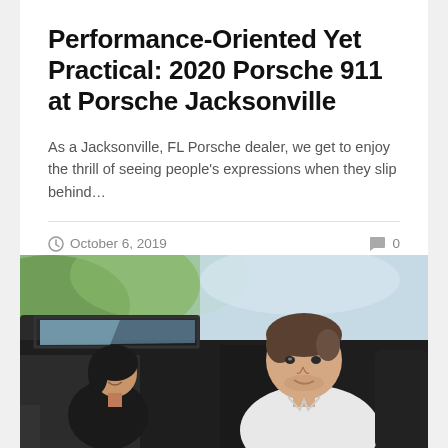Performance-Oriented Yet Practical: 2020 Porsche 911 at Porsche Jacksonville
As a Jacksonville, FL Porsche dealer, we get to enjoy the thrill of seeing people's expressions when they slip behind…
October 6, 2019   0
[Figure (photo): Two people (a woman and a man) sitting inside a car, viewed through the open car window. The man is in the driver's seat, smiling and looking forward. The woman is in the passenger seat smiling. Green trees visible through the windshield.]